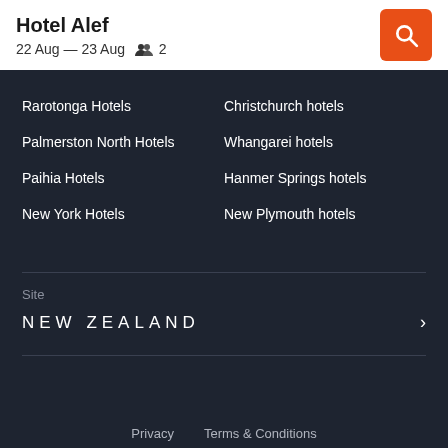Hotel Alef
22 Aug — 23 Aug   👥 2
Rarotonga Hotels
Christchurch hotels
Palmerston North Hotels
Whangarei hotels
Paihia Hotels
Hanmer Springs hotels
New York Hotels
New Plymouth hotels
Site
NEW ZEALAND
Privacy   Terms & Conditions
©2022 KAYAK